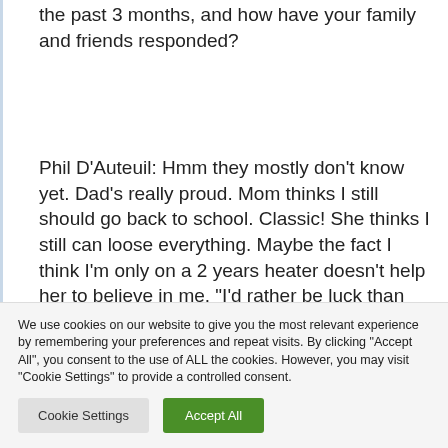the past 3 months, and how have your family and friends responded?
Phil D'Auteuil: Hmm they mostly don't know yet. Dad's really proud. Mom thinks I still should go back to school. Classic! She thinks I still can loose everything. Maybe the fact I think I'm only on a 2 years heater doesn't help her to believe in me. “I'd rather be luck than
We use cookies on our website to give you the most relevant experience by remembering your preferences and repeat visits. By clicking "Accept All", you consent to the use of ALL the cookies. However, you may visit "Cookie Settings" to provide a controlled consent.